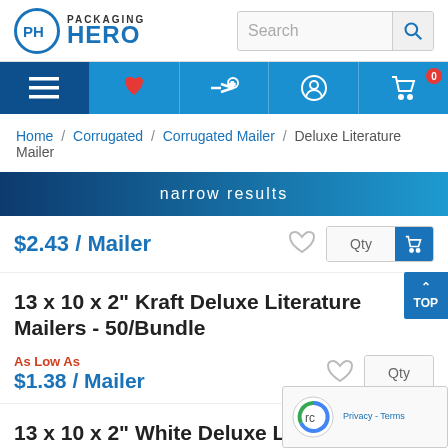[Figure (logo): Packaging Hero logo with circle PH icon and blue text]
[Figure (screenshot): Navigation bar with hamburger menu, phone, quick-add, account, and cart icons]
Home / Corrugated / Corrugated Mailer / Deluxe Literature Mailer
narrow results
$2.43 / Mailer
13 x 10 x 2" Kraft Deluxe Literature Mailers - 50/Bundle
As Low As
$1.38 / Mailer
13 x 10 x 2" White Deluxe Literature Mailers -